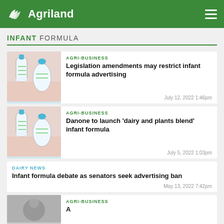Agriland
INFANT FORMULA
AGRI-BUSINESS
Legislation amendments may restrict infant formula advertising
July 12, 2022 1:46pm
AGRI-BUSINESS
Danone to launch 'dairy and plants blend' infant formula
July 5, 2022 1:03pm
DAIRY NEWS
Infant formula debate as senators seek advertising ban
May 13, 2022 7:42pm
AGRI-BUSINESS